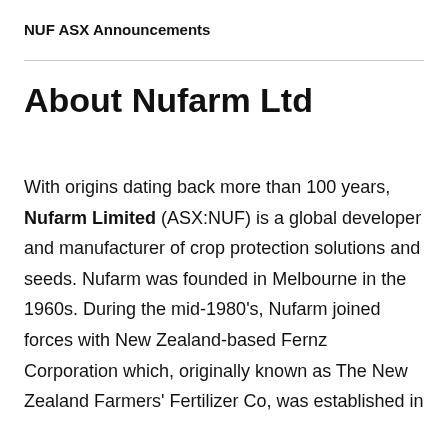NUF ASX Announcements
About Nufarm Ltd
With origins dating back more than 100 years, Nufarm Limited (ASX:NUF) is a global developer and manufacturer of crop protection solutions and seeds. Nufarm was founded in Melbourne in the 1960s. During the mid-1980's, Nufarm joined forces with New Zealand-based Fernz Corporation which, originally known as The New Zealand Farmers' Fertilizer Co, was established in